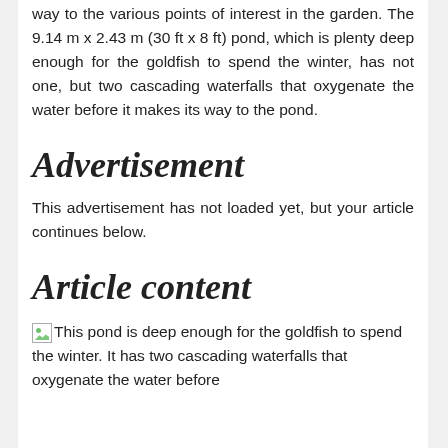way to the various points of interest in the garden. The 9.14 m x 2.43 m (30 ft x 8 ft) pond, which is plenty deep enough for the goldfish to spend the winter, has not one, but two cascading waterfalls that oxygenate the water before it makes its way to the pond.
Advertisement
This advertisement has not loaded yet, but your article continues below.
Article content
This pond is deep enough for the goldfish to spend the winter. It has two cascading waterfalls that oxygenate the water before